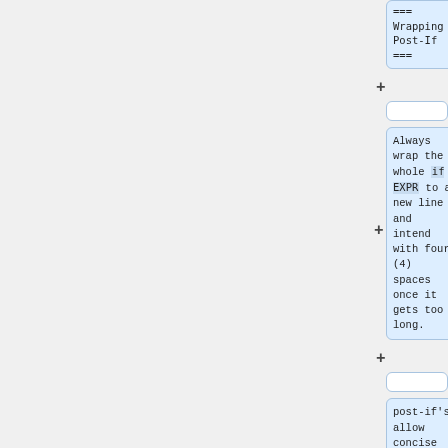=== Wrapping Post-If ===
(empty node)
Always wrap the whole <code>if EXPR</code> to a new line and intend with four (4) spaces once it gets too long.
(empty node)
post-if's allow concise error handling.